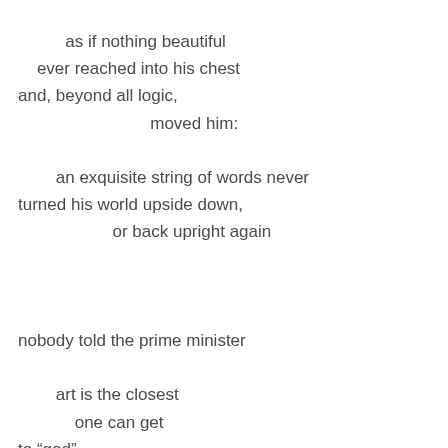as if nothing beautiful
    ever reached into his chest
and, beyond all logic,
                        moved him:

        an exquisite string of words never
turned his world upside down,
                    or back upright again


nobody told the prime minister

        art is the closest
            one can get
to “god”